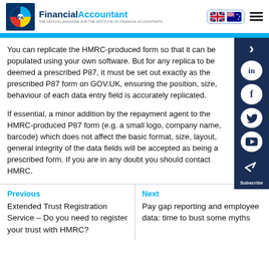FinancialAccountant — THE OFFICIAL MAGAZINE FOR THE INSTITUTE OF FINANCIAL ACCOUNTANTS
You can replicate the HMRC-produced form so that it can be populated using your own software. But for any replica to be deemed a prescribed P87, it must be set out exactly as the prescribed P87 form on GOV.UK, ensuring the position, size, behaviour of each data entry field is accurately replicated.
If essential, a minor addition by the repayment agent to the HMRC-produced P87 form (e.g. a small logo, company name, barcode) which does not affect the basic format, size, layout, general integrity of the data fields will be accepted as being a prescribed form. If you are in any doubt you should contact HMRC.
Previous
Extended Trust Registration Service – Do you need to register your trust with HMRC?
Next
Pay gap reporting and employee data: time to bust some myths